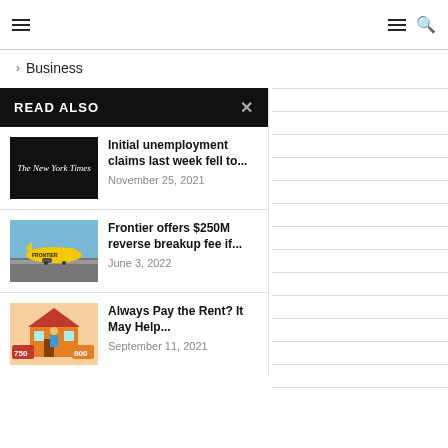Navigation bar with menu and search icons
> Business
READ ALSO
[Figure (screenshot): New York Times logo thumbnail on black background]
Initial unemployment claims last week fell to...
November 25, 2021
[Figure (photo): Frontier Airlines yellow plane on tarmac]
Frontier offers $250M reverse breakup fee if...
June 3, 2022
[Figure (illustration): Illustration of house with credit score numbers 750 and 800]
Always Pay the Rent? It May Help...
September 11, 2021